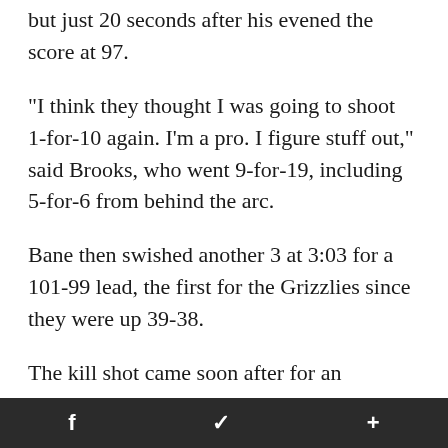but just 20 seconds after his evened the score at 97.
"I think they thought I was going to shoot 1-for-10 again. I'm a pro. I figure stuff out," said Brooks, who went 9-for-19, including 5-for-6 from behind the arc.
Bane then swished another 3 at 3:03 for a 101-99 lead, the first for the Grizzlies since they were up 39-38.
The kill shot came soon after for an opponent that, like so many others against the Grizzlies this season, was consistently a step and a
f  🐦  +